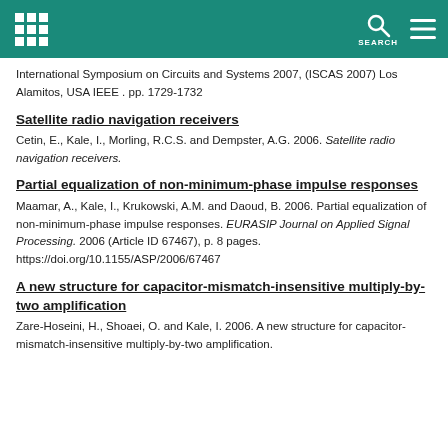SEARCH
International Symposium on Circuits and Systems 2007, (ISCAS 2007) Los Alamitos, USA IEEE . pp. 1729-1732
Satellite radio navigation receivers
Cetin, E., Kale, I., Morling, R.C.S. and Dempster, A.G. 2006. Satellite radio navigation receivers.
Partial equalization of non-minimum-phase impulse responses
Maamar, A., Kale, I., Krukowski, A.M. and Daoud, B. 2006. Partial equalization of non-minimum-phase impulse responses. EURASIP Journal on Applied Signal Processing. 2006 (Article ID 67467), p. 8 pages. https://doi.org/10.1155/ASP/2006/67467
A new structure for capacitor-mismatch-insensitive multiply-by-two amplification
Zare-Hoseini, H., Shoaei, O. and Kale, I. 2006. A new structure for capacitor-mismatch-insensitive multiply-by-two amplification.